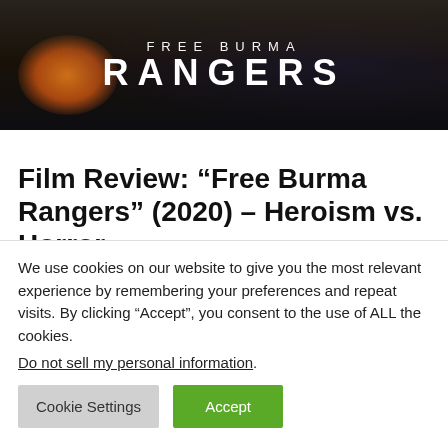[Figure (photo): Movie banner for 'Free Burma Rangers' with dark background showing silhouetted figures, orange/fire glow on the left, and white text reading 'FREE BURMA RANGERS' in large uppercase letters]
Film Review: “Free Burma Rangers” (2020) – Heroism vs. Horror
May 13, 2020 | 0 Comments
Free Burma Rangers is an amazing film giving
We use cookies on our website to give you the most relevant experience by remembering your preferences and repeat visits. By clicking “Accept”, you consent to the use of ALL the cookies.
Do not sell my personal information.